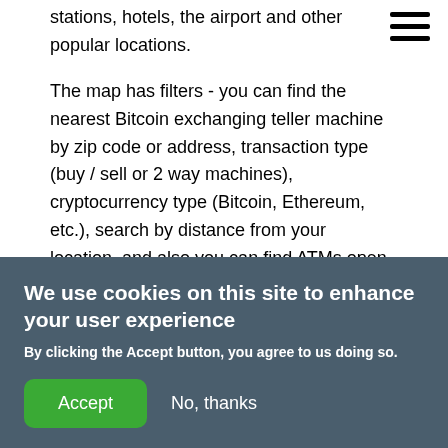stations, hotels, the airport and other popular locations.

The map has filters - you can find the nearest Bitcoin exchanging teller machine by zip code or address, transaction type (buy / sell or 2 way machines), cryptocurrency type (Bitcoin, Ethereum, etc.), search by distance from your location, and also you can find ATMs open now (including those open 24 hours). When you click on a Bitcoin terminal on the map, you can see the following information: its exact address, photos of
[Figure (other): Hamburger menu icon (three horizontal lines) in the top right corner]
We use cookies on this site to enhance your user experience
By clicking the Accept button, you agree to us doing so.
Accept
No, thanks